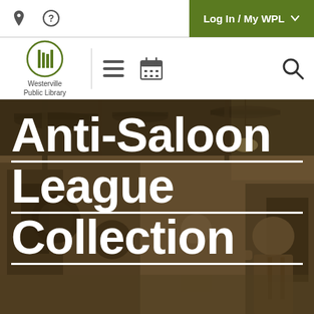Log In / My WPL
[Figure (logo): Westerville Public Library logo with stylized book/building icon and text 'Westerville Public Library']
Anti-Saloon League Collection
[Figure (photo): Sepia-toned historical photograph of a printing press room with workers standing among large industrial printing machinery]